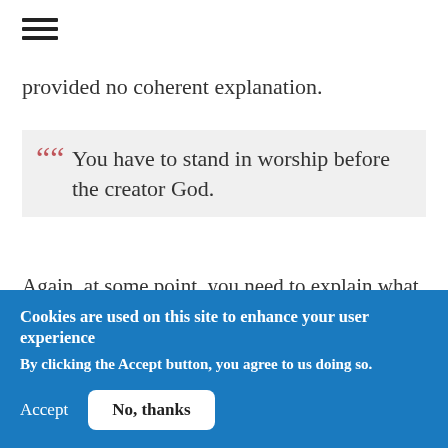≡
provided no coherent explanation.
“ You have to stand in worship before the creator God.
Again, at some point, you need to explain what this means for you, especially in relation to Jesus and the Spirit. I wonder what worship will look like under the N.H. paradigm you advocate. Probably very unlike any OT or NT example of worship that I can think of.
Cookies are used on this site to enhance your user experience
By clicking the Accept button, you agree to us doing so.
Accept  No, thanks